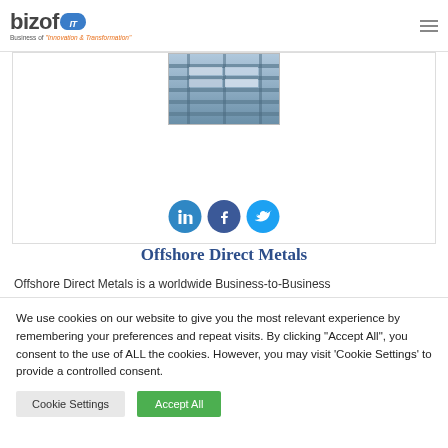bizofIT — Business of Innovation & Transformation
[Figure (photo): Photo of metal shelving or industrial metal racks/sheets]
[Figure (infographic): Social media icons: LinkedIn, Facebook, Twitter]
Offshore Direct Metals
Offshore Direct Metals is a worldwide Business-to-Business
We use cookies on our website to give you the most relevant experience by remembering your preferences and repeat visits. By clicking "Accept All", you consent to the use of ALL the cookies. However, you may visit 'Cookie Settings' to provide a controlled consent.
Cookie Settings | Accept All